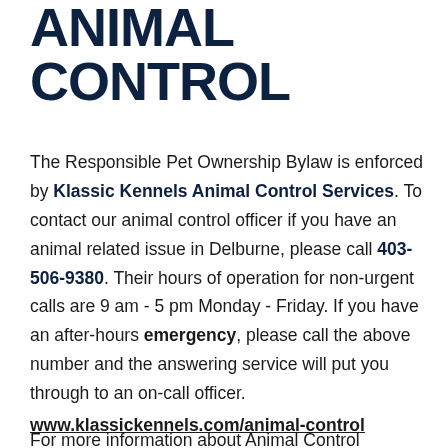ANIMAL CONTROL
The Responsible Pet Ownership Bylaw is enforced by Klassic Kennels Animal Control Services. To contact our animal control officer if you have an animal related issue in Delburne, please call 403-506-9380. Their hours of operation for non-urgent calls are 9 am - 5 pm Monday - Friday. If you have an after-hours emergency, please call the above number and the answering service will put you through to an on-call officer.

For more information about Animal Control Services, visit their website:

www.klassickennels.com/animal-control